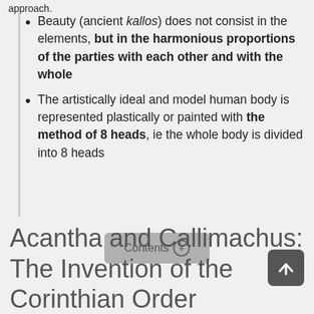approach.
Beauty (ancient kallos) does not consist in the elements, but in the harmonious proportions of the parties with each other and with the whole
The artistically ideal and model human body is represented plastically or painted with the method of 8 heads, ie the whole body is divided into 8 heads
Contents
Acantha and Callimachus: The Invention of the Corinthian Order